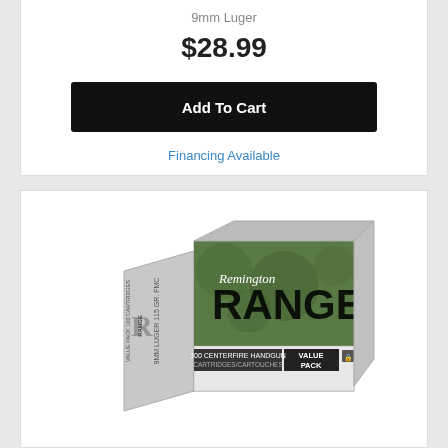9mm Luger
$28.99
Add To Cart
Financing Available
[Figure (photo): Box of Remington Range 9mm Luger ammunition, 100 cartridges Value Pack, green and white packaging]
T9MM3B
Remington Ammunition
9mm Luger
$36.99